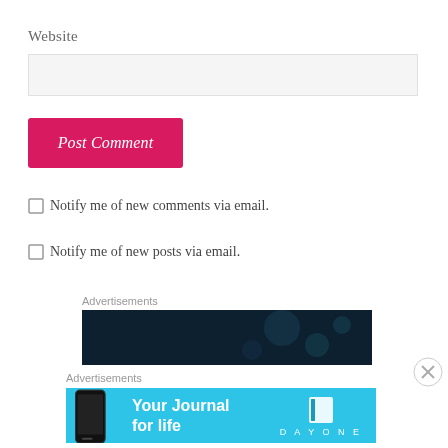Website
Post Comment
Notify me of new comments via email.
Notify me of new posts via email.
Advertisements
[Figure (other): Dark bokeh advertisement banner]
Advertisements
[Figure (other): Day One - Your Journal for life advertisement banner]